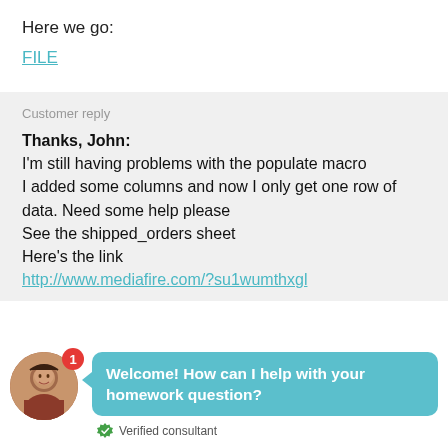Here we go:
FILE
Customer reply
Thanks, John:
I'm still having problems with the populate macro
I added some columns and now I only get one row of data. Need some help please
See the shipped_orders sheet
Here's the link
http://www.mediafire.com/?su1wumthxgl
[Figure (photo): Chat widget with consultant avatar photo, badge showing '1', teal speech bubble saying 'Welcome! How can I help with your homework question?', and 'Verified consultant' label with green shield icon.]